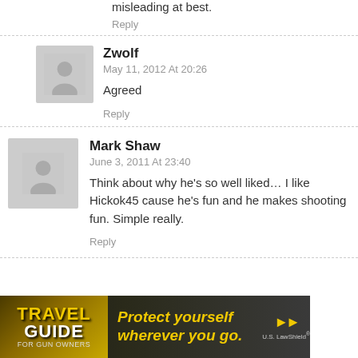misleading at best.
Reply
Zwolf
May 11, 2012 At 20:26
Agreed
Reply
Mark Shaw
June 3, 2011 At 23:40
Think about why he's so well liked… I like Hickok45 cause he's fun and he makes shooting fun. Simple really.
Reply
[Figure (photo): Travel Guide for Gun Owners advertisement banner with text 'Protect yourself wherever you go.' and US LawShield logo]